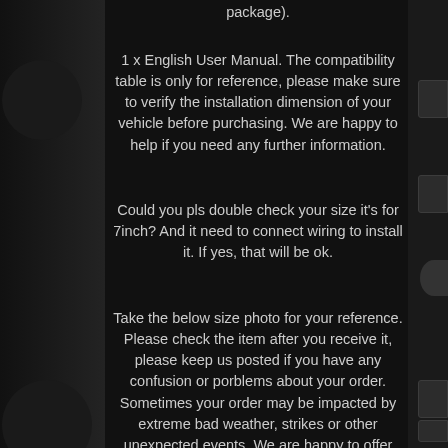package).
1 x English User Manual. The compatibility table is only for reference, please make sure to verify the installation dimension of your vehicle before purchasing. We are happy to help if you need any further information.
Could you pls double check your size it's for 7inch? And it need to connect wiring to install it. If yes, that will be ok.
Take the below size photo for your reference. Please check the item after you receive it, please keep us posted if you have any confusion or porblems about your order. Sometimes your order may be impacted by extreme bad weather, strikes or other unexpected events. We are happy to offer solutions to your inquiries.
The item "7 Inch Car Stereo Radio MP5 USB HD Bluetooth Mirror Link Touch Screen Player+Cam" is in sale since Monday, May 13, 2019. This item is